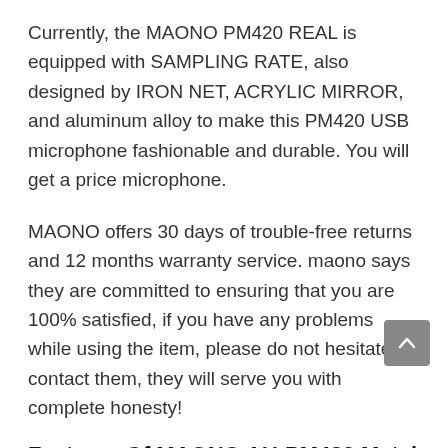Currently, the MAONO PM420 REAL is equipped with SAMPLING RATE, also designed by IRON NET, ACRYLIC MIRROR, and aluminum alloy to make this PM420 USB microphone fashionable and durable. You will get a price microphone.
MAONO offers 30 days of trouble-free returns and 12 months warranty service. maono says they are committed to ensuring that you are 100% satisfied, if you have any problems while using the item, please do not hesitate to contact them, they will serve you with complete honesty!
Features Of MAONO AU-PM420 Metal